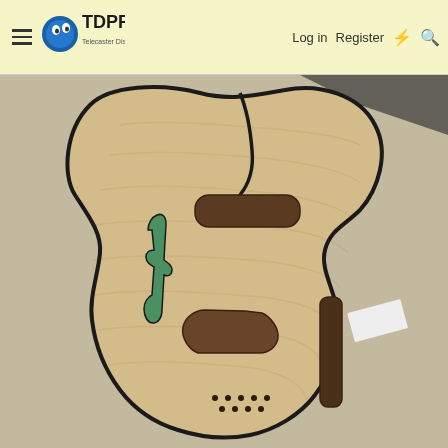TDPRI.com — Telecaster Discussion Page Reissue | Log in | Register
[Figure (photo): An unfinished guitar body (Telecaster-style thinline) made of light maple wood with flame figuring, showing routed cavities for pickups and controls, f-hole on the upper left, binding along the edges, and small dot holes near the bottom center. The body rests on a cloth surface.]